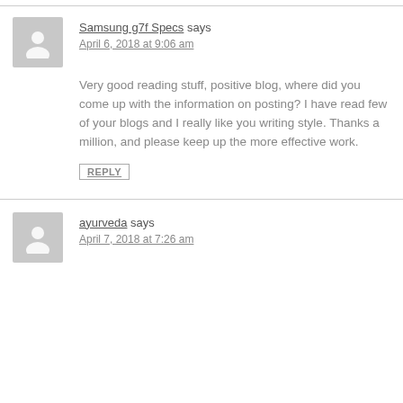Samsung g7f Specs says
April 6, 2018 at 9:06 am
Very good reading stuff, positive blog, where did you come up with the information on posting? I have read few of your blogs and I really like you writing style. Thanks a million, and please keep up the more effective work.
REPLY
ayurveda says
April 7, 2018 at 7:26 am